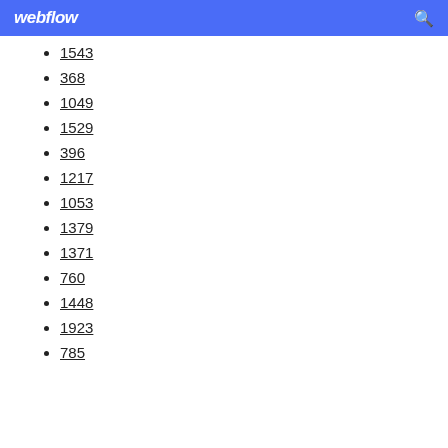webflow
1543
368
1049
1529
396
1217
1053
1379
1371
760
1448
1923
785